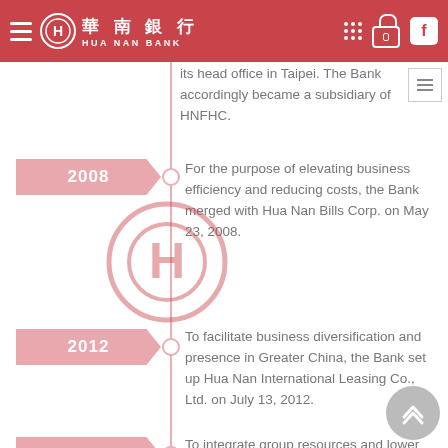HUA NAN BANK 華南銀行
its head office in Taipei. The Bank accordingly became a subsidiary of HNFHC.
2008 — For the purpose of elevating business efficiency and reducing costs, the Bank merged with Hua Nan Bills Corp. on May 23, 2008.
2012 — To facilitate business diversification and presence in Greater China, the Bank set up Hua Nan International Leasing Co., Ltd. on July 13, 2012.
2017 — To integrate group resources and lower operation cost, the Bank merged with Hua Nan Insurance